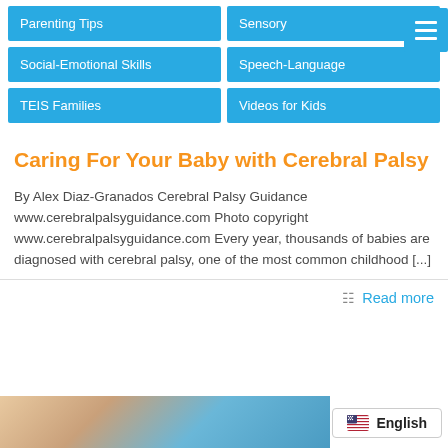Parenting Tips
Sensory
Social-Emotional Skills
Speech-Language
TEIS Families
Videos for Kids
Caring For Your Baby with Cerebral Palsy
By Alex Diaz-Granados Cerebral Palsy Guidance www.cerebralpalsyguidance.com Photo copyright www.cerebralpalsyguidance.com Every year, thousands of babies are diagnosed with cerebral palsy, one of the most common childhood [...]
Read more
English